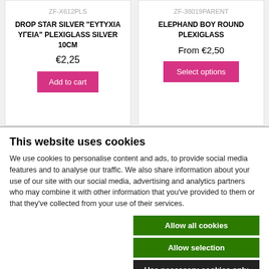ZF-X612PLS
DROP STAR SILVER "EYTYXIA ΥΓΕΙΑ" PLEXIGLASS SILVER 10CM
€2,25
Add to cart
ZF-38019PARENT
ELEPHAND BOY ROUND PLEXIGLASS
From €2,50
Select options
This website uses cookies
We use cookies to personalise content and ads, to provide social media features and to analyse our traffic. We also share information about your use of our site with our social media, advertising and analytics partners who may combine it with other information that you've provided to them or that they've collected from your use of their services.
Allow all cookies
Allow selection
Use necessary cookies only
✓ Necessary
☐ Preferences
☐ Statistics
☐ Marketing
Show details ▾